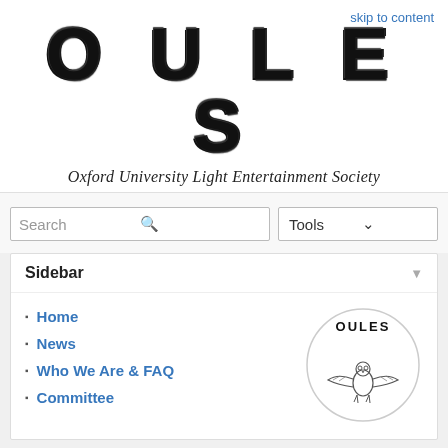skip to content
[Figure (logo): OULES large sketchy hand-drawn block letters logo]
Oxford University Light Entertainment Society
Search
Tools
Sidebar
Home
News
Who We Are & FAQ
Committee
[Figure (logo): OULES circular logo with owl in flight]